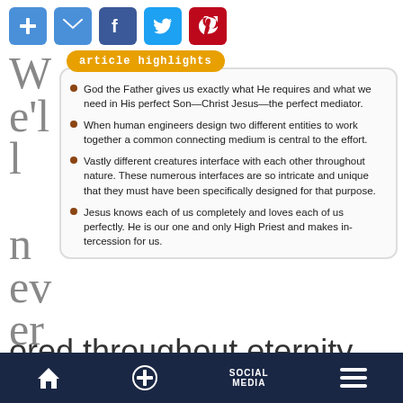[Figure (other): Social media sharing icons: plus, mail, facebook, twitter, pinterest]
article highlights
God the Father gives us exactly what He requires and what we need in His perfect Son—Christ Jesus—the perfect mediator.
When human engineers design two different entities to work together a common connecting medium is central to the effort.
Vastly different creatures interface with each other throughout nature. These numerous interfaces are so intricate and unique that they must have been specifically designed for that purpose.
Jesus knows each of us completely and loves each of us perfectly. He is our one and only High Priest and makes intercession for us.
We'll never get bored throughout eternity. There is always something wonderfully new to learn about our precious Lord Jesus, the uplifting Holy
Home  +  SOCIAL MEDIA  Menu